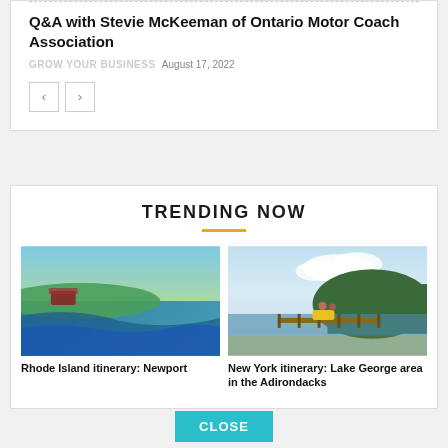Q&A with Stevie McKeeman of Ontario Motor Coach Association
GROW YOUR BUSINESS August 17, 2022
TRENDING NOW
[Figure (photo): Aerial view of Rhode Island coastline with mansion and ocean]
Rhode Island itinerary: Newport
[Figure (photo): People on rail bikes on a wooden trestle bridge over a lake in the Adirondacks]
New York itinerary: Lake George area in the Adirondacks